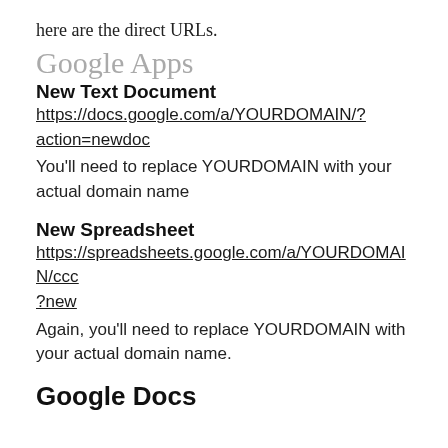here are the direct URLs.
Google Apps
New Text Document
https://docs.google.com/a/YOURDOMAIN/?action=newdoc
You'll need to replace YOURDOMAIN with your actual domain name
New Spreadsheet
https://spreadsheets.google.com/a/YOURDOMAIN/ccc?new
Again, you'll need to replace YOURDOMAIN with your actual domain name.
Google Docs